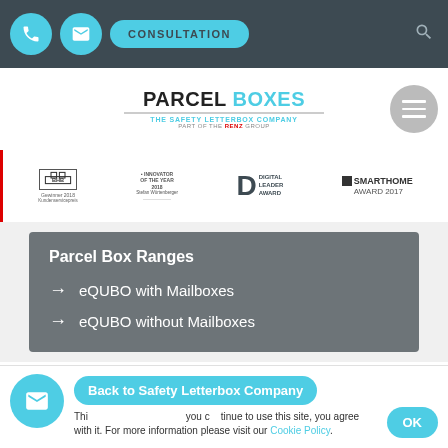CONSULTATION
[Figure (logo): PARCEL BOXES - THE SAFETY LETTERBOX COMPANY - PART OF THE RENZ GROUP logo with hamburger menu button]
[Figure (infographic): Awards strip: BHB Gewinner 2018 Kundenservicepreis, Innovator of the Year 2018 Stefan Würtenberger, Digital Leader Award, SmartHome Award 2017]
Parcel Box Ranges
eQUBO with Mailboxes
eQUBO without Mailboxes
Back to Safety Letterbox Company
This site uses cookies. If you continue to use this site, you agree with it. For more information please visit our Cookie Policy.